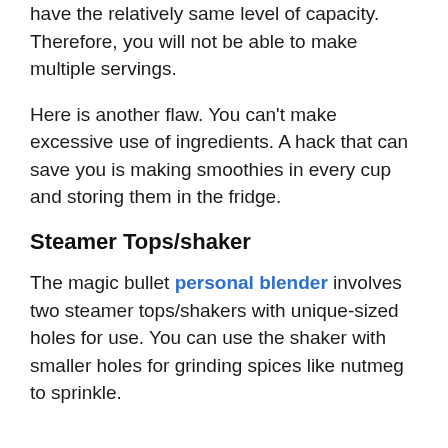have the relatively same level of capacity. Therefore, you will not be able to make multiple servings.
Here is another flaw. You can't make excessive use of ingredients. A hack that can save you is making smoothies in every cup and storing them in the fridge.
Steamer Tops/shaker
The magic bullet personal blender involves two steamer tops/shakers with unique-sized holes for use. You can use the shaker with smaller holes for grinding spices like nutmeg to sprinkle.